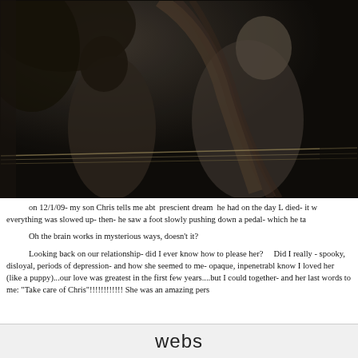[Figure (photo): A dark, black-and-white or sepia-toned photograph showing two figures, possibly people, in a dark outdoor setting. The image is aged with visible scratches and wear marks across it.]
on 12/1/09- my son Chris tells me abt  prescient dream  he had on the day L died- it w everything was slowed up- then- he saw a foot slowly pushing down a pedal- which he ta
Oh the brain works in mysterious ways, doesn't it?
Looking back on our relationship- did I ever know how to please her?    Did I really - spooky, disloyal, periods of depression- and how she seemed to me- opaque, inpenetrabl know I loved her (like a puppy)...our love was greatest in the first few years....but I could together- and her last words to me: "Take care of Chris"!!!!!!!!!!!! She was an amazing pers
webs